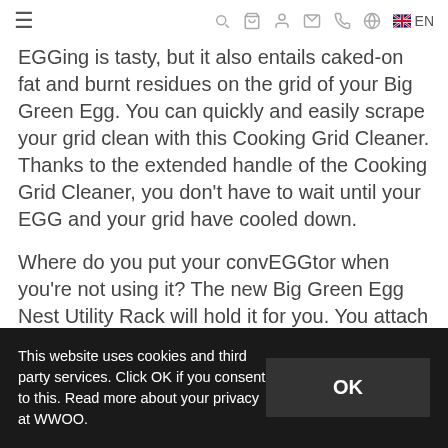≡  🔍  🛒  👤  ✉  📞  🌐  🇬🇧 EN
EGGing is tasty, but it also entails caked-on fat and burnt residues on the grid of your Big Green Egg. You can quickly and easily scrape your grid clean with this Cooking Grid Cleaner. Thanks to the extended handle of the Cooking Grid Cleaner, you don't have to wait until your EGG and your grid have cooled down.
Where do you put your convEGGtor when you're not using it? The new Big Green Egg Nest Utility Rack will hold it for you. You attach this temporary storage solution to your EGG Nest or integrated
This website uses cookies and third party services. Click OK if you consent to this. Read more about your privacy at WWOO.